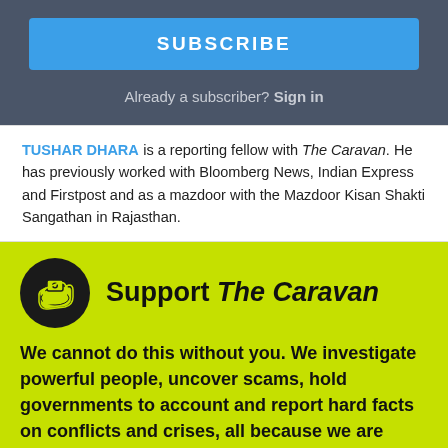SUBSCRIBE
Already a subscriber? Sign in
TUSHAR DHARA is a reporting fellow with The Caravan. He has previously worked with Bloomberg News, Indian Express and Firstpost and as a mazdoor with the Mazdoor Kisan Shakti Sangathan in Rajasthan.
[Figure (illustration): Black circular icon with a hand holding money/cash illustration]
Support The Caravan
We cannot do this without you. We investigate powerful people, uncover scams, hold governments to account and report hard facts on conflicts and crises, all because we are independent of any outside interests. And since we answer to nobody but you, our readers, we need your